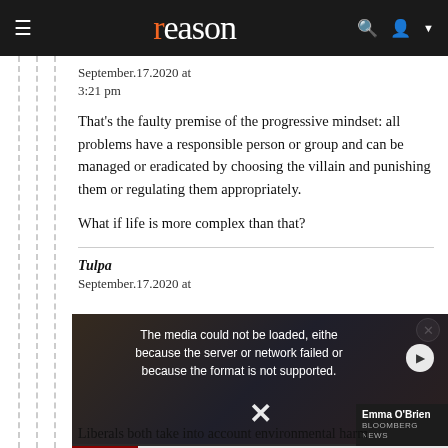reason
September.17.2020 at
3:21 pm
That's the faulty premise of the progressive mindset: all problems have a responsible person or group and can be managed or eradicated by choosing the villain and punishing them or regulating them appropriately.

What if life is more complex than that?
Tulpa
September.17.2020 at
[Figure (screenshot): Video player showing error message: 'The media could not be loaded, either because the server or network failed or because the format is not supported.' with a news ticker at bottom reading 'SINGAPORE MAKES MASKS MANDATORY ONLY FOR PUBLIC TRANSPORT AND HOSPITALS' and presenter Emma O'Brien from Bloomberg News.]
Liberals both take into account environmental harm